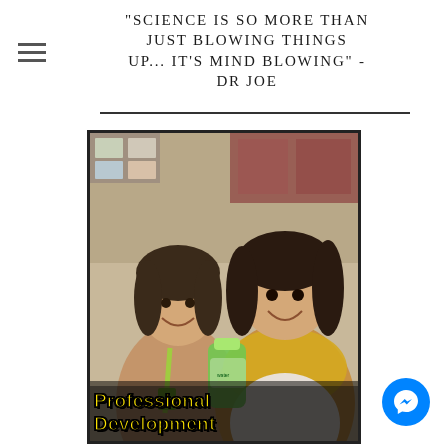"SCIENCE IS SO MORE THAN JUST BLOWING THINGS UP... IT'S MIND BLOWING" - DR JOE
[Figure (photo): Two smiling women, one wearing a tan cardigan with a green lanyard, the other wearing a yellow knit scarf, holding a green plastic bottle. Colorful posters visible in background. Text overlay at bottom reads 'Professional Development' in bold yellow letters with black outline.]